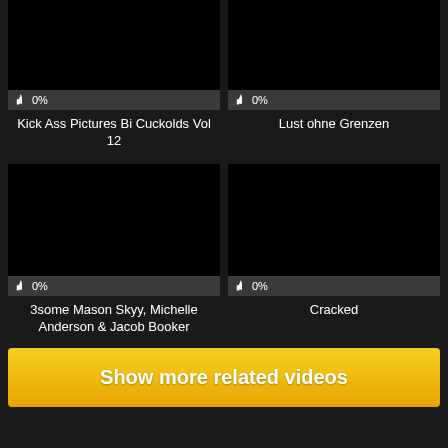[Figure (screenshot): Black thumbnail image for video card 1]
👍 0%
Kick Ass Pictures Bi Cuckolds Vol 12
[Figure (screenshot): Black thumbnail image for video card 2]
👍 0%
Lust ohne Grenzen
[Figure (screenshot): Black thumbnail image for video card 3]
👍 0%
3some Mason Skyy, Michelle Anderson & Jacob Booker
[Figure (screenshot): Black thumbnail image for video card 4]
👍 0%
Cracked
Show more related videos